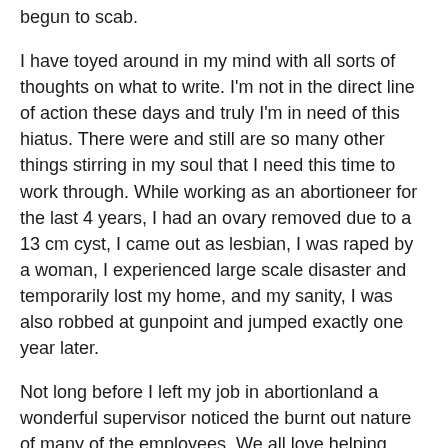begun to scab.
I have toyed around in my mind with all sorts of thoughts on what to write. I'm not in the direct line of action these days and truly I'm in need of this hiatus. There were and still are so many other things stirring in my soul that I need this time to work through. While working as an abortioneer for the last 4 years, I had an ovary removed due to a 13 cm cyst, I came out as lesbian, I was raped by a woman, I experienced large scale disaster and temporarily lost my home, and my sanity, I was also robbed at gunpoint and jumped exactly one year later.
Not long before I left my job in abortionland a wonderful supervisor noticed the burnt out nature of many of the employees. We all love helping women get the information and care we need, but its also exhausting as we often share. This boss lady brought us information about Secondary Trauma and Compassion Fatigue. Many of us joked about these very seemingly silly concepts. As I have had a moment to breath a bit a fresh air, I began to think more about the things I learned in abortionland, experiences gained as well